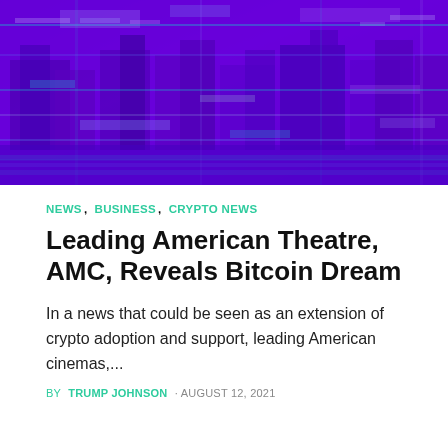[Figure (photo): A purple/violet tinted aerial or cityscape image showing buildings and infrastructure with a glitchy, digitally processed neon purple and cyan color treatment]
NEWS,  BUSINESS,  CRYPTO NEWS
Leading American Theatre, AMC, Reveals Bitcoin Dream
In a news that could be seen as an extension of crypto adoption and support, leading American cinemas,...
BY TRUMP JOHNSON · AUGUST 12, 2021